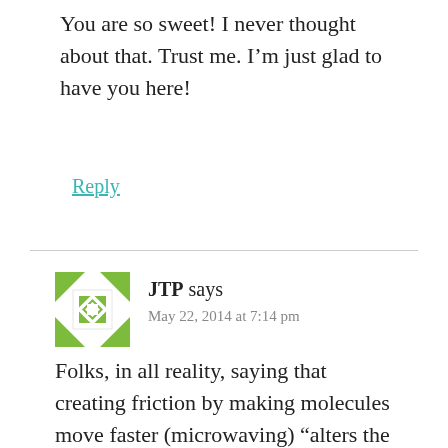You are so sweet! I never thought about that. Trust me. I’m just glad to have you here!
Reply
JTP says
May 22, 2014 at 7:14 pm
Folks, in all reality, saying that creating friction by making molecules move faster (microwaving) “alters the structure of the food” is exactly li saying, “Rubbing your hands together to create warmth ‘alters the structure’